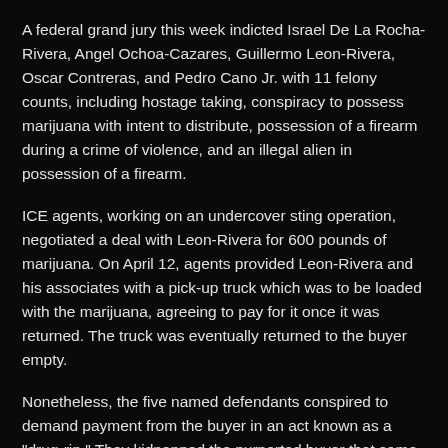A federal grand jury this week indicted Israel De La Rocha-Rivera, Angel Ochoa-Cazares, Guillermo Leon-Rivera, Oscar Contreras, and Pedro Cano Jr. with 11 felony counts, including hostage taking, conspiracy to possess marijuana with intent to distribute, possession of a firearm during a crime of violence, and an illegal alien in possession of a firearm.
ICE agents, working on an undercover sting operation, negotiated a deal with Leon-Rivera for 600 pounds of marijuana. On April 12, agents provided Leon-Rivera and his associates with a pick-up truck which was to be loaded with the marijuana, agreeing to pay for it once it was returned. The truck was eventually returned to the buyer empty.
Nonetheless, the five named defendants conspired to demand payment from the buyer in an act known as a "drug-rip." They kidnapped the purported buyer that same evening at gun point. The defendants drove him to a house once owned by